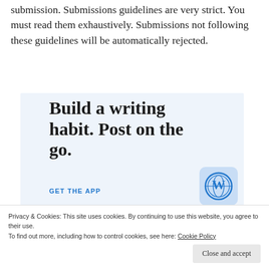submission. Submissions guidelines are very strict. You must read them exhaustively. Submissions not following these guidelines will be automatically rejected.
[Figure (infographic): WordPress app advertisement with light blue background. Large bold text reads 'Build a writing habit. Post on the go.' with a 'GET THE APP' link and WordPress logo icon.]
Privacy & Cookies: This site uses cookies. By continuing to use this website, you agree to their use. To find out more, including how to control cookies, see here: Cookie Policy